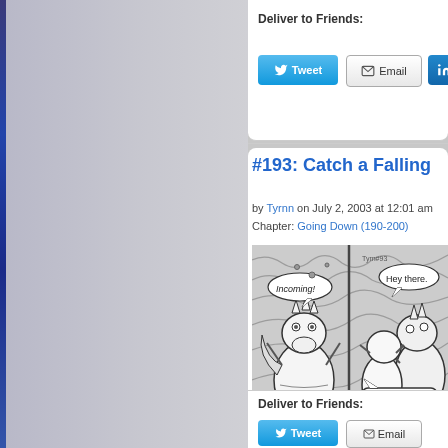Deliver to Friends:
Tweet
Email
Shar
#193: Catch a Falling
by Tyrnn on July 2, 2003 at 12:01 am
Chapter: Going Down (190-200)
[Figure (illustration): Black and white comic strip panel showing cartoon dragon-like creatures. Left panel: a creature looking up with speech bubble 'Incoming!'. Right panel: two creatures with speech bubbles 'Hey there.' and 'Nice of you to drop in.']
Deliver to Friends:
Tweet